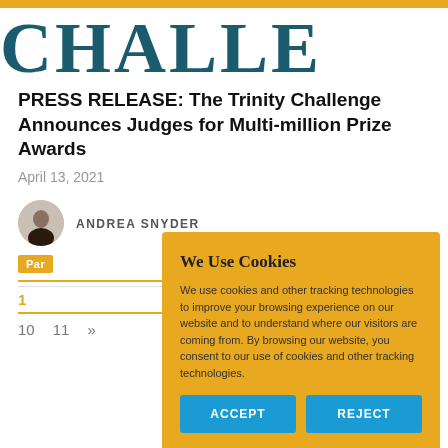CHALLE (partial logo, clipped)
PRESS RELEASE: The Trinity Challenge Announces Judges for Multi-million Prize Awards
April 13, 2021
ANDREA SNYDER
Par
1
10   11   »
[Figure (other): Cookie consent popup overlay with title 'We Use Cookies', description text about tracking technologies, and two buttons: ACCEPT and REJECT]